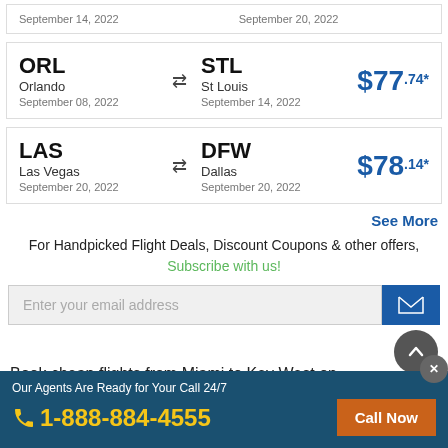September 14, 2022 | September 20, 2022
| From | Direction | To | Price |
| --- | --- | --- | --- |
| ORL Orlando September 08, 2022 | ⇄ | STL St Louis September 14, 2022 | $77.74* |
| LAS Las Vegas September 20, 2022 | ⇄ | DFW Dallas September 20, 2022 | $78.14* |
See More
For Handpicked Flight Deals, Discount Coupons & other offers, Subscribe with us!
Enter your email address
Book cheap flights from Miami to Key West on
Our Agents Are Ready for Your Call 24/7
1-888-884-4555
Call Now